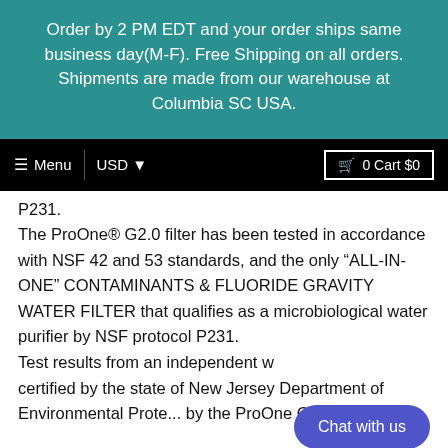Order by 2 PM EDT and your order ships same business day(M-F). Free Shipping on all orders. Shipments are made from our warehouse at Columbia SC USA.
≡ Menu  |  USD ▾       🛒 0 Cart $0
P231. The ProOne® G2.0 filter has been tested in accordance with NSF 42 and 53 standards, and the only "ALL-IN-ONE" CONTAMINANTS & FLUORIDE GRAVITY WATER FILTER that qualifies as a microbiological water purifier by NSF protocol P231. Test results from an independent w... certified by the state of New Jersey Department of Environmental Protection, by the ProOne G2.0...